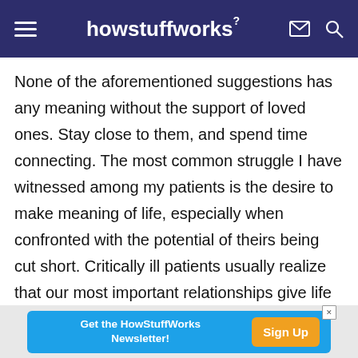howstuffworks
None of the aforementioned suggestions has any meaning without the support of loved ones. Stay close to them, and spend time connecting. The most common struggle I have witnessed among my patients is the desire to make meaning of life, especially when confronted with the potential of theirs being cut short. Critically ill patients usually realize that our most important relationships give life meaning. Don't squander opportunities to spend time with people you love. Being with loved ones naturally enhances the positive emotions that may
Get the HowStuffWorks Newsletter! Sign Up